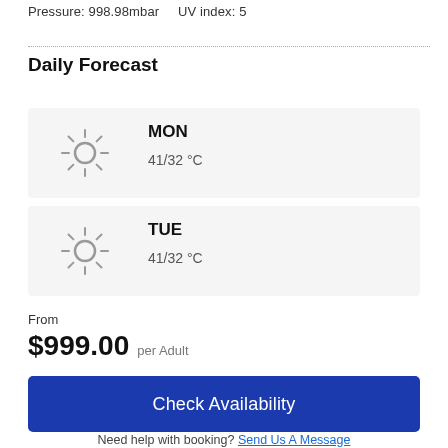Pressure: 998.98mbar    UV index: 5
Daily Forecast
[Figure (illustration): Sun icon for MON forecast]
MON
41/32 °C
[Figure (illustration): Sun icon for TUE forecast]
TUE
41/32 °C
From
$999.00 per Adult
Check Availability
Need help with booking? Send Us A Message